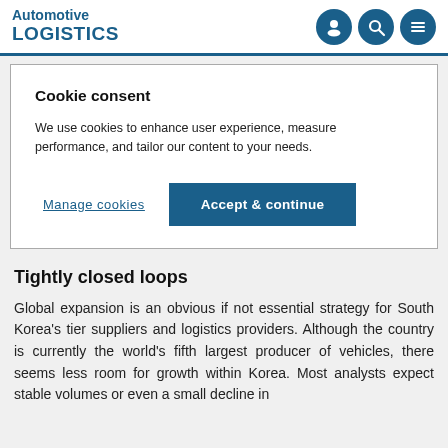Automotive LOGISTICS
Cookie consent
We use cookies to enhance user experience, measure performance, and tailor our content to your needs.
Manage cookies | Accept & continue
Tightly closed loops
Global expansion is an obvious if not essential strategy for South Korea's tier suppliers and logistics providers. Although the country is currently the world's fifth largest producer of vehicles, there seems less room for growth within Korea. Most analysts expect stable volumes or even a small decline in